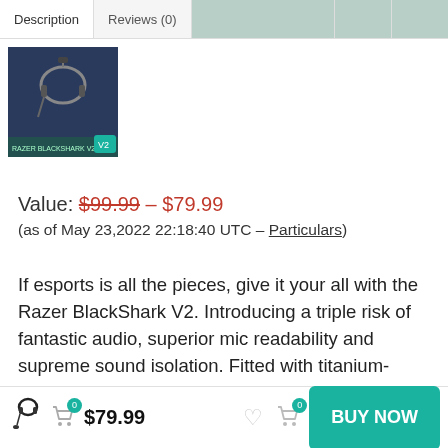Description | Reviews (0)
[Figure (photo): Gaming headset product thumbnail image in dark blue packaging with headphones and accessories]
Value: $99.99 – $79.99 (as of May 23,2022 22:18:40 UTC – Particulars)
If esports is all the pieces, give it your all with the Razer BlackShark V2. Introducing a triple risk of fantastic audio, superior mic readability and supreme sound isolation. Fitted with titanium-coated
$79.99  BUY NOW